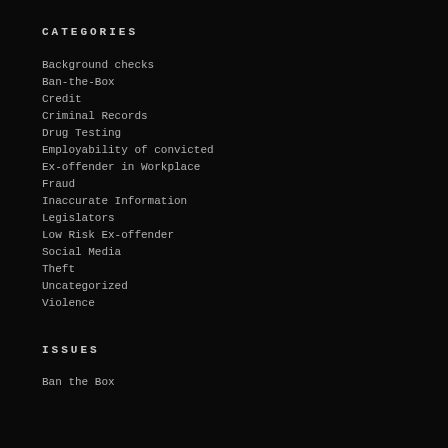CATEGORIES
Background checks
Ban-the-Box
Credit
Criminal Records
Drug Testing
Employability of convicted
Ex-offender in Workplace
Fraud
Inaccurate Information
Legislators
Low Risk Ex-offender
Social Media
Theft
Uncategorized
Violence
ISSUES
Ban the Box